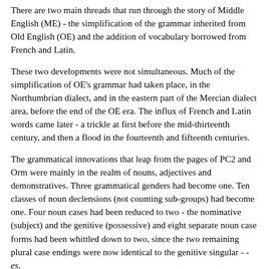There are two main threads that run through the story of Middle English (ME) - the simplification of the grammar inherited from Old English (OE) and the addition of vocabulary borrowed from French and Latin.
These two developments were not simultaneous. Much of the simplification of OE's grammar had taken place, in the Northumbrian dialect, and in the eastern part of the Mercian dialect area, before the end of the OE era. The influx of French and Latin words came later - a trickle at first before the mid-thirteenth century, and then a flood in the fourteenth and fifteenth centuries.
The grammatical innovations that leap from the pages of PC2 and Orm were mainly in the realm of nouns, adjectives and demonstratives. Three grammatical genders had become one. Ten classes of noun declensions (not counting sub-groups) had become one. Four noun cases had been reduced to two - the nominative (subject) and the genitive (possessive) and eight separate noun case forms had been whittled down to two, since the two remaining plural case endings were now identical to the genitive singular - -es.